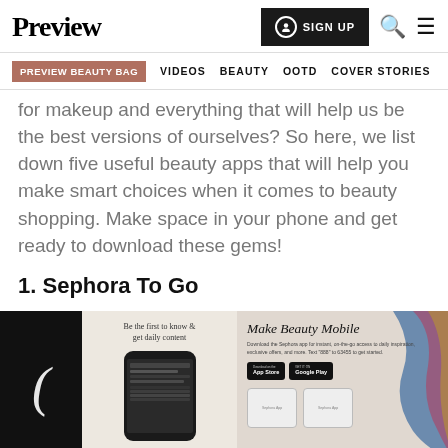Preview | SIGN UP | Search | Menu
PREVIEW BEAUTY BAG  VIDEOS  BEAUTY  OOTD  COVER STORIES
for makeup and everything that will help us be the best versions of ourselves? So here, we list down five useful beauty apps that will help you make smart choices when it comes to beauty shopping. Make space in your phone and get ready to download these gems!
1. Sephora To Go
[Figure (screenshot): Promotional images of the Sephora To Go app showing a dark Sephora logo panel on the left, a phone mockup with the app interface in the middle with caption 'Be the first to know & get daily content', and a 'Make Beauty Mobile' promotional panel on the right with app store download badges.]